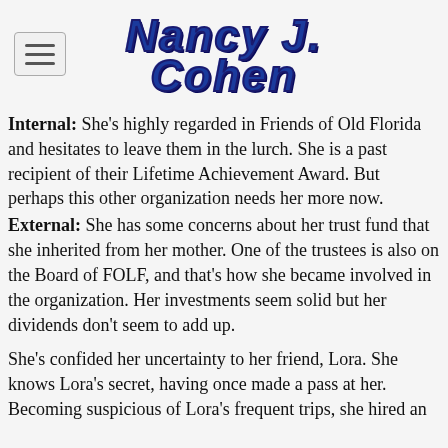[Figure (logo): Nancy J. Cohen author logo in bold blue italic serif style text with dark outline]
Internal: She's highly regarded in Friends of Old Florida and hesitates to leave them in the lurch. She is a past recipient of their Lifetime Achievement Award. But perhaps this other organization needs her more now.
External: She has some concerns about her trust fund that she inherited from her mother. One of the trustees is also on the Board of FOLF, and that's how she became involved in the organization. Her investments seem solid but her dividends don't seem to add up.
She's confided her uncertainty to her friend, Lora. She knows Lora's secret, having once made a pass at her. Becoming suspicious of Lora's frequent trips, she hired an